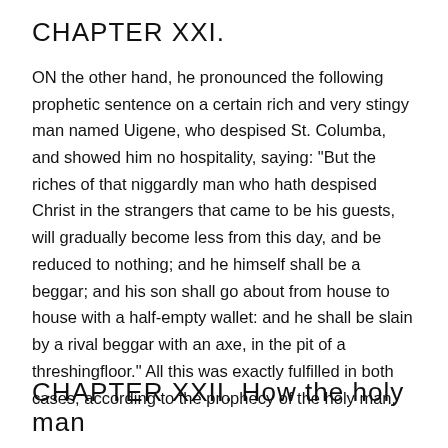CHAPTER XXI.
ON the other hand, he pronounced the following prophetic sentence on a certain rich and very stingy man named Uigene, who despised St. Columba, and showed him no hospitality, saying: "But the riches of that niggardly man who hath despised Christ in the strangers that came to be his guests, will gradually become less from this day, and be reduced to nothing; and he himself shall be a beggar; and his son shall go about from house to house with a half-empty wallet: and he shall be slain by a rival beggar with an axe, in the pit of a threshingfloor." All this was exactly fulfilled in both cases, according to the prophecy of the holy man.
CHAPTER XXII. How the holy man